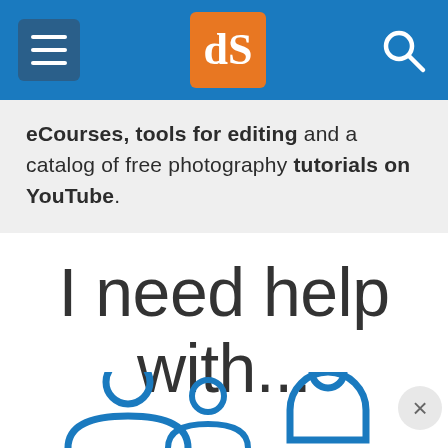dPS navigation header with menu, logo, and search
eCourses, tools for editing and a catalog of free photography tutorials on YouTube.
I need help with...
[Figure (illustration): Two blue outline icons of people (portrait/person silhouettes) partially visible at bottom, with a close (X) button on the right]